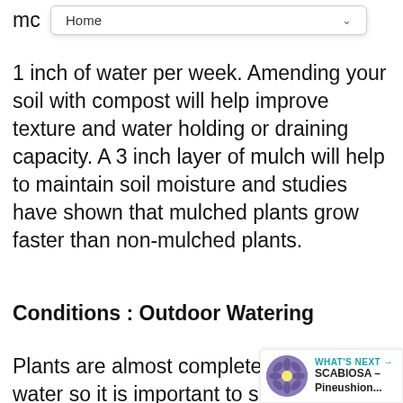Home
1 inch of water per week. Amending your soil with compost will help improve texture and water holding or draining capacity. A 3 inch layer of mulch will help to maintain soil moisture and studies have shown that mulched plants grow faster than non-mulched plants.
Conditions : Outdoor Watering
Plants are almost completely made up of water so it is important to supply them with adequate water to maintain good plant health. Not enough water and roots will wither and the plant will wilt and die. Too much water too frequently deprives roots of oxygen leading